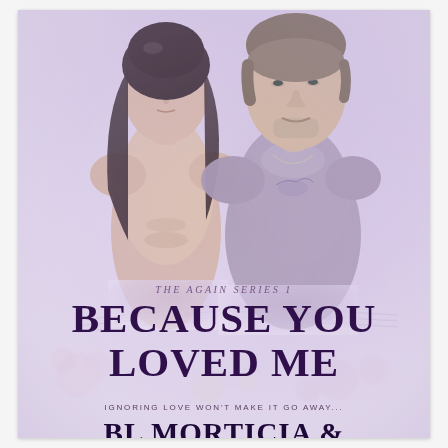[Figure (illustration): Book cover image showing two male figures against a soft lavender/purple background with floral and musical note watermarks. Left figure is shirtless with long dark hair. Right figure wears a gray shirt, has short hair and facial stubble with a chest tattoo visible.]
The Again Series 1
BECAUSE YOU LOVED ME
IGNORING LOVE WON'T MAKE IT GO AWAY...
BL MORTICIA &